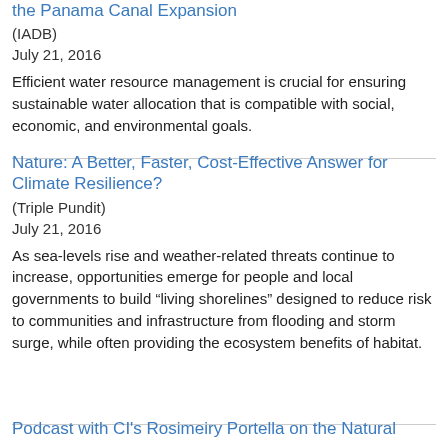the Panama Canal Expansion
(IADB)
July 21, 2016
Efficient water resource management is crucial for ensuring sustainable water allocation that is compatible with social, economic, and environmental goals.
Nature: A Better, Faster, Cost-Effective Answer for Climate Resilience?
(Triple Pundit)
July 21, 2016
As sea-levels rise and weather-related threats continue to increase, opportunities emerge for people and local governments to build “living shorelines” designed to reduce risk to communities and infrastructure from flooding and storm surge, while often providing the ecosystem benefits of habitat.
Podcast with CI's Rosimeiry Portella on the Natural